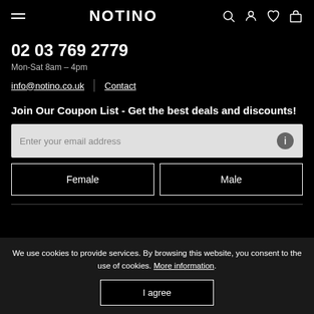NOTINO
02 03 769 2779
Mon-Sat 8am – 4pm
info@notino.co.uk | Contact
Join Our Coupon List - Get the best deals and discounts!
Enter your email address
Female
Male
We use cookies to provide services. By browsing this website, you consent to the use of cookies. More information.
I agree